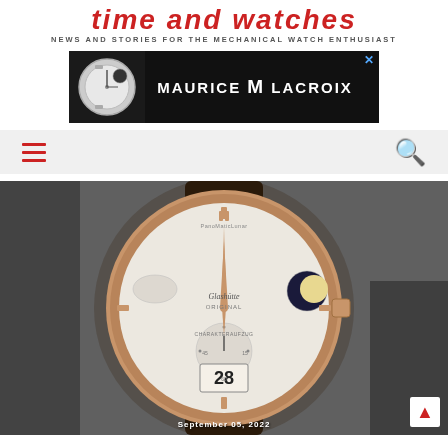Time and Watches
NEWS AND STORIES FOR THE MECHANICAL WATCH ENTHUSIAST
[Figure (photo): Maurice Lacroix advertisement banner showing a chronograph watch on black background with brand name MAURICE M LACROIX]
[Figure (infographic): Navigation bar with hamburger menu icon on left and search icon on right, on light gray background]
[Figure (photo): Close-up photograph of a Glashütte Original PanoMaticLunar watch with rose gold case, silver dial, moon phase complication, and large date display showing 28, on dark leather strap. Date overlay at bottom reads September 05, 2022]